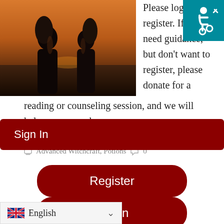[Figure (photo): Two silhouetted figures facing each other at sunset near water]
[Figure (illustration): Accessibility icon (wheelchair symbol) in white on teal background]
Please log in or register. If you need guidance, but don't want to register, please donate for a reading or counseling session, and we will help you as much as we can.
K. Sis. Nicole T.N. Lasher   November 29, 2014
Advanced Witchcraft, Potions   0
Sign In
Register
Log In
English